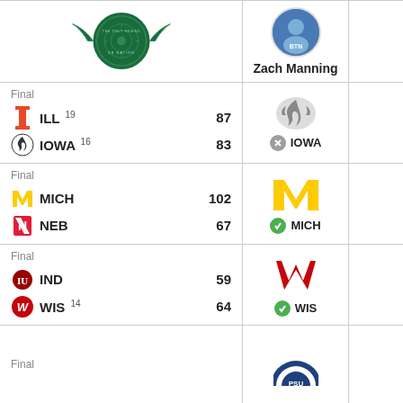[Figure (logo): SB Nation logo (green circular badge with wings) and Zach Manning profile photo with BTN logo, header row]
Zach Manning
Final
ILL 19  87
IOWA 16  83
[Figure (logo): Iowa Hawkeyes logo (gray hawk) with X circle and IOWA pick label]
Final
MICH  102
NEB  67
[Figure (logo): Michigan Wolverines M logo (gold) with green check and MICH pick label]
Final
IND  59
WIS 14  64
[Figure (logo): Wisconsin Badgers W logo (red) with green check and WIS pick label]
Final